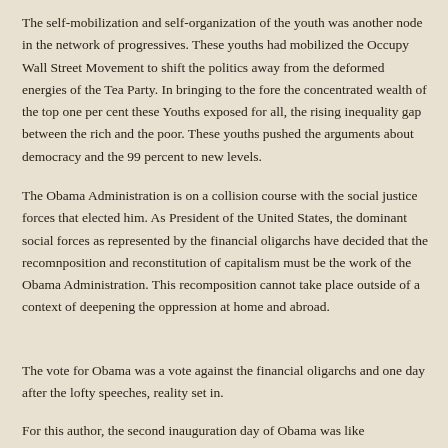The self-mobilization and self-organization of the youth was another node in the network of progressives. These youths had mobilized the Occupy Wall Street Movement to shift the politics away from the deformed energies of the Tea Party. In bringing to the fore the concentrated wealth of the top one per cent these Youths exposed for all, the rising inequality gap between the rich and the poor. These youths pushed the arguments about democracy and the 99 percent to new levels.
The Obama Administration is on a collision course with the social justice forces that elected him. As President of the United States, the dominant social forces as represented by the financial oligarchs have decided that the recomnposition and reconstitution of capitalism must be the work of the Obama Administration. This recomposition cannot take place outside of a context of deepening the oppression at home and abroad.
The vote for Obama was a vote against the financial oligarchs and one day after the lofty speeches, reality set in.
For this author, the second inauguration day of Obama was like